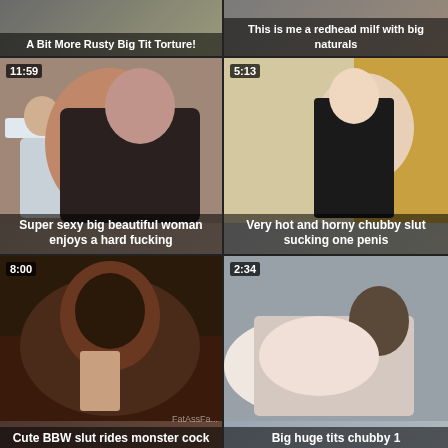[Figure (screenshot): Video thumbnail grid showing adult content thumbnails with titles and durations]
A Bit More Rusty Big Tit Torture!
This is me a redhead milf with big naturals
Super sexy big beautiful woman enjoys a hard fucking
Very hot and horny chubby slut sucking one penis
Cute BBW slut rides monster cock
Big huge tits chubby 1
[Figure (screenshot): Bottom left partial video thumbnail 5:03]
[Figure (screenshot): Bottom right partial video thumbnail 6:30]